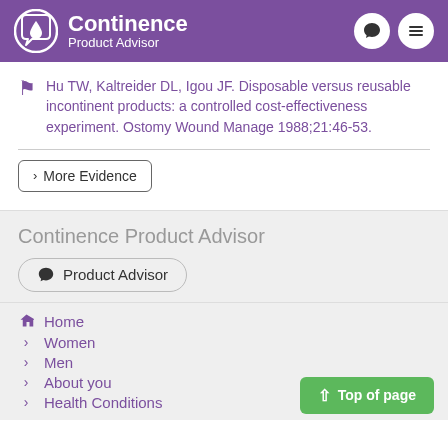Continence Product Advisor
Hu TW, Kaltreider DL, Igou JF. Disposable versus reusable incontinent products: a controlled cost-effectiveness experiment. Ostomy Wound Manage 1988;21:46-53.
> More Evidence
Continence Product Advisor
Product Advisor
Home
Women
Men
About you
Health Conditions